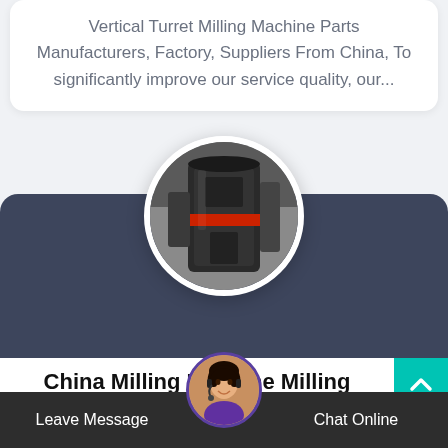Vertical Turret Milling Machine Parts Manufacturers, Factory, Suppliers From China, To significantly improve our service quality, our...
[Figure (photo): Circular cropped photo of a vertical turret milling machine in an industrial setting, showing cylindrical metal machinery with red accent ring, dark background]
China Milling Machine Milling Machine Manufacturers
China manufacturing industries are full of strong
Leave Message
Chat Online
[Figure (photo): Circular avatar of a female customer service representative wearing a headset, used for chat online support button]